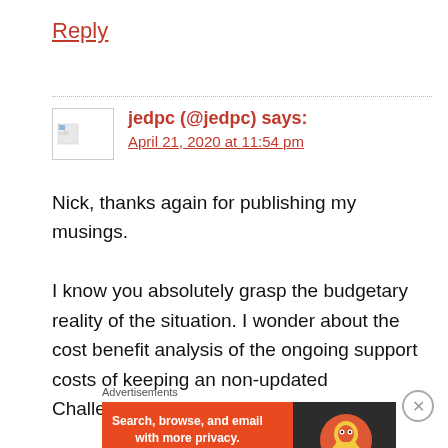Reply
jedpc (@jedpc) says:
April 21, 2020 at 11:54 pm
Nick, thanks again for publishing my musings.

I know you absolutely grasp the budgetary reality of the situation. I wonder about the cost benefit analysis of the ongoing support costs of keeping an non-updated Challenger 2 in service until it falls apart.
Advertisements
[Figure (screenshot): DuckDuckGo advertisement banner: orange section with text 'Search, browse, and email with more privacy. All in One Free App' and dark section with DuckDuckGo duck logo]